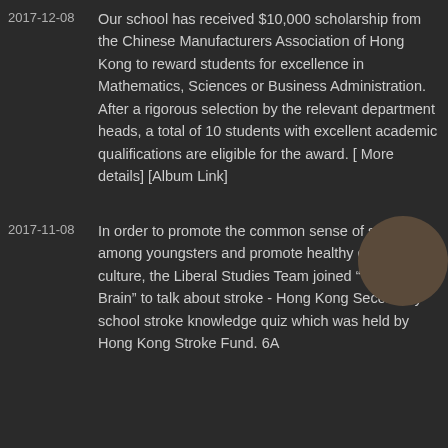2017-12-08 Our school has received $10,000 scholarship from the Chinese Manufacturers Association of Hong Kong to reward students for excellence in Mathematics, Sciences or Business Administration. After a rigorous selection by the relevant department heads, a total of 10 students with excellent academic qualifications are eligible for the award. [ More details] [Album Link]
2017-11-08 In order to promote the common sense of stroke among youngsters and promote healthy campus culture, the Liberal Studies Team joined "Talking with Brain" to talk about stroke - Hong Kong Secondary school stroke knowledge quiz which was held by Hong Kong Stroke Fund. 6A